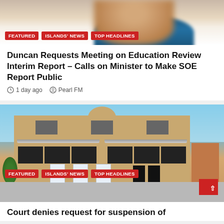[Figure (photo): Partially visible person's face and shoulder (blurred), with colored tags overlaid: FEATURED, ISLANDS' NEWS, TOP HEADLINES]
Duncan Requests Meeting on Education Review Interim Report – Calls on Minister to Make SOE Report Public
1 day ago   Pearl FM
[Figure (photo): Two-story tan/beige building exterior with signs out front. Tags overlaid: FEATURED, ISLANDS' NEWS, TOP HEADLINES]
Court denies request for suspension of